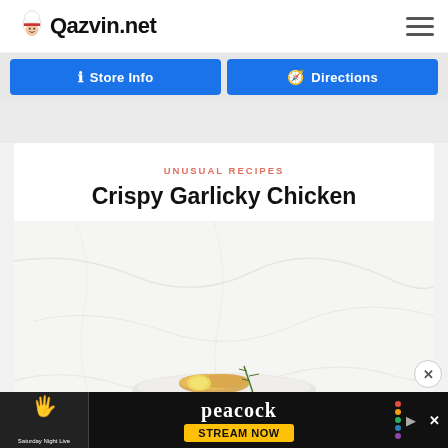Qazvin.net
Store Info   Directions
UNUSUAL RECIPES
Crispy Garlicky Chicken
[Figure (photo): Marble surface with a plate containing food (crispy garlicky chicken) with rosemary garnish, partially visible at bottom of card]
[Figure (screenshot): Advertisement banner: Saturday Night Live peacock STREAM NOW]